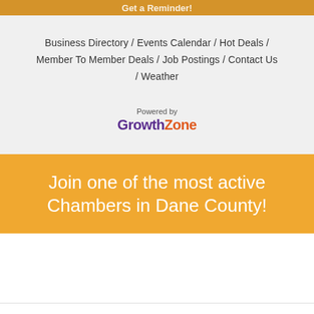Get a Reminder!
Business Directory / Events Calendar / Hot Deals / Member To Member Deals / Job Postings / Contact Us / Weather
[Figure (logo): Powered by GrowthZone logo — 'Powered by' in small gray text above, 'Growth' in bold purple and 'Zone' in bold orange]
Join one of the most active Chambers in Dane County!